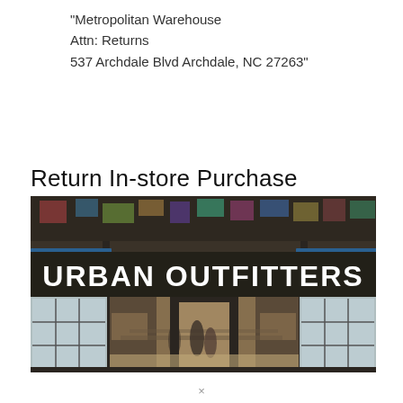“Metropolitan Warehouse
Attn: Returns
537 Archdale Blvd Archdale, NC 27263”
Return In-store Purchase
[Figure (photo): Photograph of an Urban Outfitters store entrance with large signage reading 'URBAN OUTFITTERS', glass doors open showing interior merchandise and shoppers.]
×